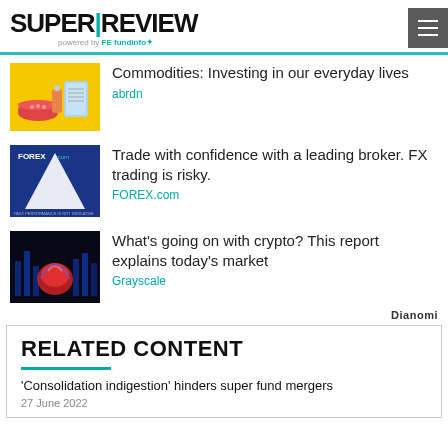SUPER|REVIEW powered by FE fundinfo
[Figure (illustration): Commodities illustration with bowl of food, bottle, and box on yellow background]
Commodities: Investing in our everyday lives
abrdn
[Figure (photo): FOREX.com advertisement showing blue background with white triangle/arrow graphic]
Trade with confidence with a leading broker. FX trading is risky.
FOREX.com
[Figure (photo): Dark background image with red glowing brain/crypto figure for crypto market report]
What's going on with crypto? This report explains today's market
Grayscale
Dianomi
RELATED CONTENT
'Consolidation indigestion' hinders super fund mergers
27 June 2022